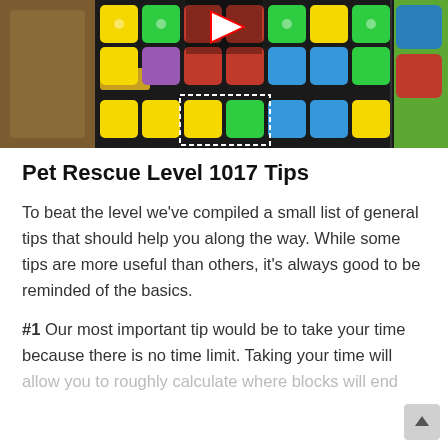[Figure (screenshot): Screenshot of Pet Rescue Saga mobile game showing a grid of colorful blocks (yellow, green, blue, purple, red) with icons. A YouTube play button overlay is visible at the top center. Game UI elements visible including a score counter showing 0/5.]
Pet Rescue Level 1017 Tips
To beat the level we've compiled a small list of general tips that should help you along the way. While some tips are more useful than others, it's always good to be reminded of the basics.
#1 Our most important tip would be to take your time because there is no time limit. Taking your time will allow you to roughly calculate where blocks will end